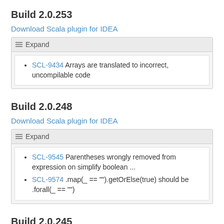Build 2.0.253
Download Scala plugin for IDEA
SCL-9434 Arrays are translated to incorrect, uncompilable code
Build 2.0.248
Download Scala plugin for IDEA
SCL-9545 Parentheses wrongly removed from expression on simplify boolean ...
SCL-9574 .map(_ == "").getOrElse(true) should be .forall(_ == "")
Build 2.0.245